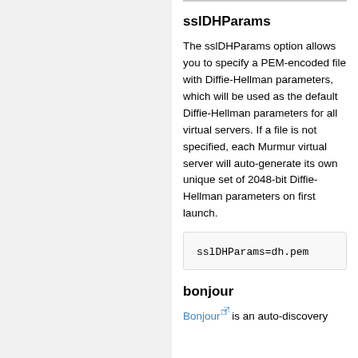sslDHParams
The sslDHParams option allows you to specify a PEM-encoded file with Diffie-Hellman parameters, which will be used as the default Diffie-Hellman parameters for all virtual servers. If a file is not specified, each Murmur virtual server will auto-generate its own unique set of 2048-bit Diffie-Hellman parameters on first launch.
sslDHParams=dh.pem
bonjour
Bonjour is an auto-discovery